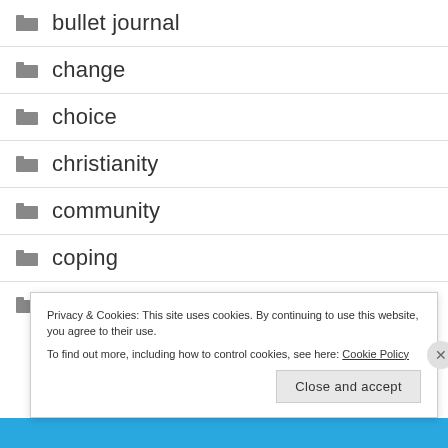bullet journal
change
choice
christianity
community
coping
counseling
Privacy & Cookies: This site uses cookies. By continuing to use this website, you agree to their use.
To find out more, including how to control cookies, see here: Cookie Policy
Close and accept